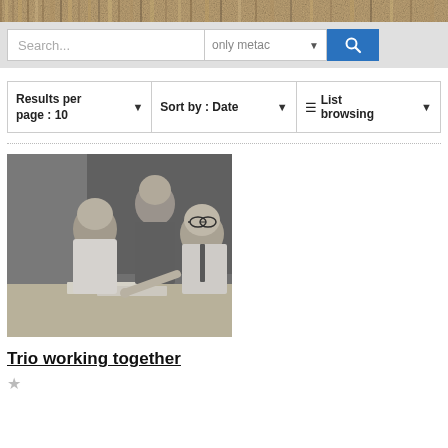[Figure (photo): Decorative banner with earthy brown/tan textured background at the top of the page]
[Figure (screenshot): Search bar UI with text input showing 'Search...', a dropdown showing 'only metac' with a down arrow, and a blue search button with magnifying glass icon]
[Figure (screenshot): Results controls bar with three cells: 'Results per page : 10' with dropdown arrow, 'Sort by : Date' with dropdown arrow, and hamburger icon 'List browsing' with dropdown arrow]
[Figure (photo): Black and white photograph showing three people (two women and one man) working together at a table, looking at papers]
Trio working together
☆